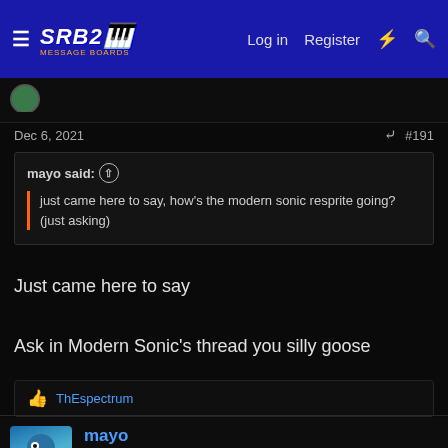SRB2 | Log in | Register
Dec 6, 2021  #191
mayo said: ↑
just came here to say, how's the modern sonic resprite going? (just asking)
Just came here to say
Ask in Modern Sonic's thread you silly goose
👍 ThEspectrum
mayo
Cobaltn't 's Unwanted Twin, The Sapphire Blur!